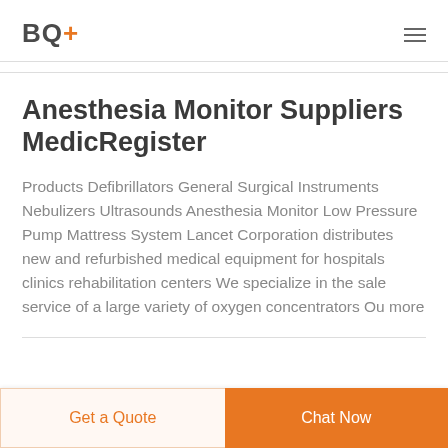BQ+
Anesthesia Monitor Suppliers MedicRegister
Products Defibrillators General Surgical Instruments Nebulizers Ultrasounds Anesthesia Monitor Low Pressure Pump Mattress System Lancet Corporation distributes new and refurbished medical equipment for hospitals clinics rehabilitation centers We specialize in the sale service of a large variety of oxygen concentrators Ou more